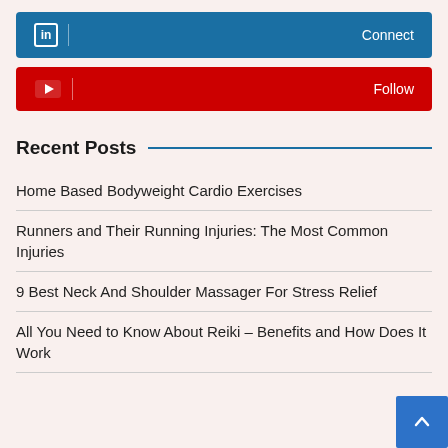[Figure (screenshot): LinkedIn connect button bar with blue background, LinkedIn icon and Connect text]
[Figure (screenshot): YouTube follow button bar with red background, YouTube icon and Follow text]
Recent Posts
Home Based Bodyweight Cardio Exercises
Runners and Their Running Injuries: The Most Common Injuries
9 Best Neck And Shoulder Massager For Stress Relief
All You Need to Know About Reiki – Benefits and How Does It Work